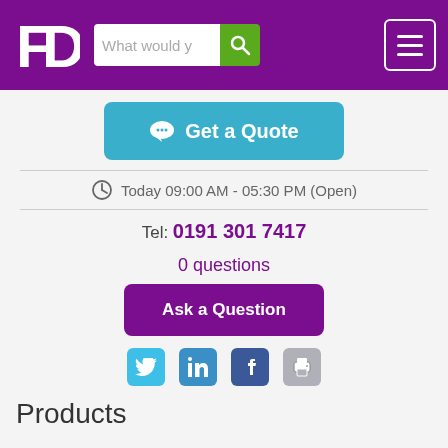[Figure (screenshot): Website header with FD logo, search bar with placeholder 'What would y', and hamburger menu icon on purple background]
[Figure (screenshot): Get a Quote button in teal/cyan color with speech bubble icon]
Today 09:00 AM - 05:30 PM (Open)
Tel: 0191 301 7417
0 questions
[Figure (screenshot): Ask a Question button in purple]
[Figure (screenshot): Social media icons row: Twitter, LinkedIn, Facebook, and Print icon]
Products